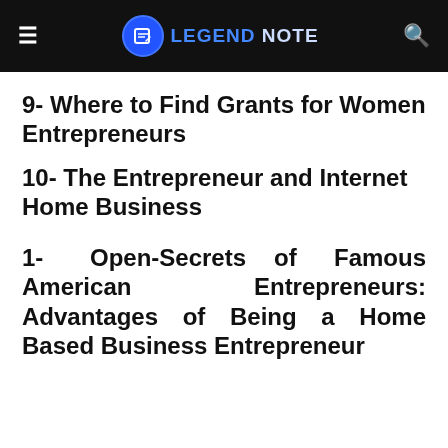LEGEND NOTE
9- Where to Find Grants for Women Entrepreneurs
10- The Entrepreneur and Internet Home Business
1- Open-Secrets of Famous American Entrepreneurs: Advantages of Being a Home Based Business Entrepreneur